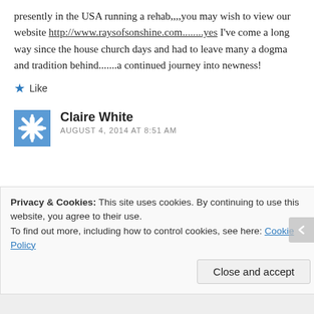presently in the USA running a rehab,,,,you may wish to view our website http://www.raysofsonshine.com........yes I've come a long way since the house church days and had to leave many a dogma and tradition behind.......a continued journey into newness!
★ Like
Claire White
AUGUST 4, 2014 AT 8:51 AM
Privacy & Cookies: This site uses cookies. By continuing to use this website, you agree to their use.
To find out more, including how to control cookies, see here: Cookie Policy